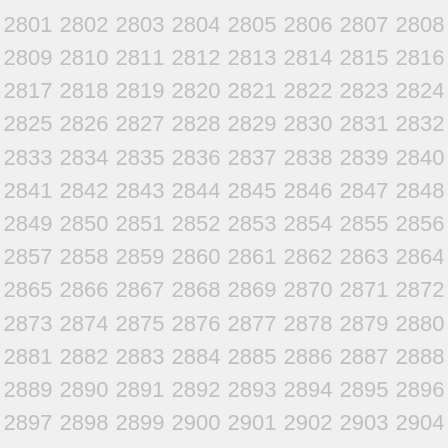2801 2802 2803 2804 2805 2806 2807 2808 2809 2810 2811 2812 2813 2814 2815 2816 2817 2818 2819 2820 2821 2822 2823 2824 2825 2826 2827 2828 2829 2830 2831 2832 2833 2834 2835 2836 2837 2838 2839 2840 2841 2842 2843 2844 2845 2846 2847 2848 2849 2850 2851 2852 2853 2854 2855 2856 2857 2858 2859 2860 2861 2862 2863 2864 2865 2866 2867 2868 2869 2870 2871 2872 2873 2874 2875 2876 2877 2878 2879 2880 2881 2882 2883 2884 2885 2886 2887 2888 2889 2890 2891 2892 2893 2894 2895 2896 2897 2898 2899 2900 2901 2902 2903 2904